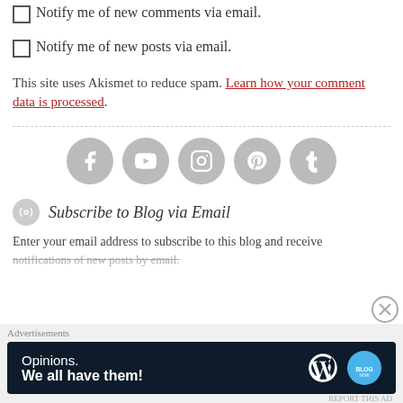Notify me of new comments via email.
Notify me of new posts via email.
This site uses Akismet to reduce spam. Learn how your comment data is processed.
[Figure (infographic): Five gray social media icon circles: Facebook, YouTube, Instagram, Pinterest, Tumblr]
Subscribe to Blog via Email
Enter your email address to subscribe to this blog and receive notifications of new posts by email.
[Figure (infographic): Advertisement banner: dark navy background with text 'Opinions. We all have them!' and WordPress and blog logos on the right. Label says Advertisements.]